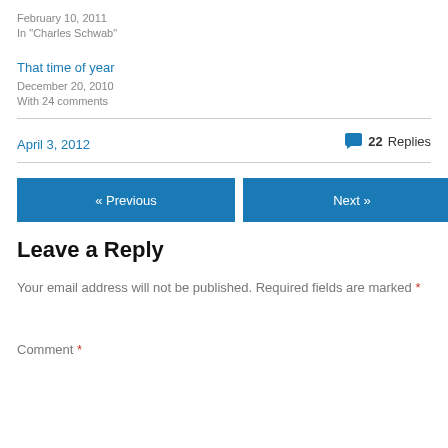February 10, 2011
In "Charles Schwab"
That time of year
December 20, 2010
With 24 comments
April 3, 2012
22 Replies
« Previous
Next »
Leave a Reply
Your email address will not be published. Required fields are marked *
Comment *